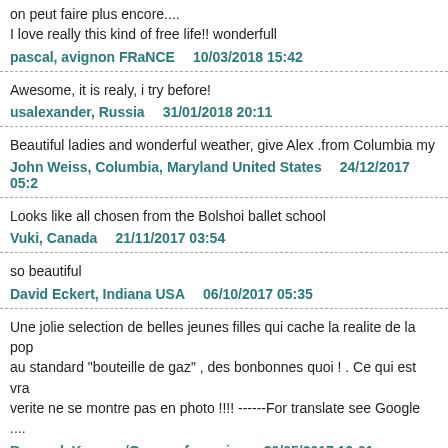on peut faire plus encore....
I love really this kind of free life!! wonderfull
pascal, avignon FRaNCE   10/03/2018 15:42
Awesome, it is realy, i try before!
usalexander, Russia   31/01/2018 20:11
Beautiful ladies and wonderful weather, give Alex .from Columbia my
John Weiss, Columbia, Maryland United States   24/12/2017 05:2
Looks like all chosen from the Bolshoi ballet school
Vuki, Canada   21/11/2017 03:54
so beautiful
David Eckert, Indiana USA   06/10/2017 05:35
Une jolie selection de belles jeunes filles qui cache la realite de la pop au standard "bouteille de gaz" , des bonbonnes quoi ! . Ce qui est vra verite ne se montre pas en photo !!!! ------For translate see Google ....
Bernard, Kourou /Guyane française   30/05/2017 19:01
Looks to me like girls are girls everywhere and boy will be boys. Ever